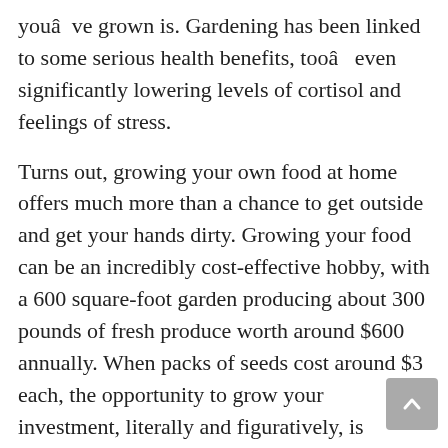youâve grown is. Gardening has been linked to some serious health benefits, tooâ even significantly lowering levels of cortisol and feelings of stress.
Turns out, growing your own food at home offers much more than a chance to get outside and get your hands dirty. Growing your food can be an incredibly cost-effective hobby, with a 600 square-foot garden producing about 300 pounds of fresh produce worth around $600 annually. When packs of seeds cost around $3 each, the opportunity to grow your investment, literally and figuratively, is clear.Â Â
Just by planting and tending to tomatoes, lettuce, or potatoes, you could save some serious money as a result. The average American spends close to $6,800 a year on food, which equals 12.6 percent of their total spending. Of that, $760 is spent on fruits and vegetables. By spending under $100 to build up your own plot of fruits and veggies, you could save around